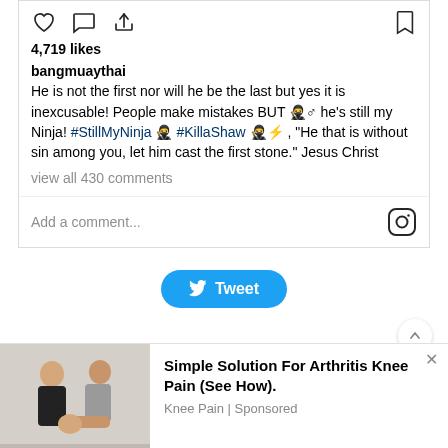[Figure (screenshot): Instagram post action icons: heart, comment bubble, share arrow (left), bookmark (right)]
4,719 likes
bangmuaythai He is not the first nor will he be the last but yes it is inexcusable! People make mistakes BUT 🥷♂ he's still my Ninja! #StillMyNinja 🥷 #KillaShaw 🥷⚡ , "He that is without sin among you, let him cast the first stone." Jesus Christ
view all 430 comments
Add a comment...
[Figure (screenshot): Tweet button (Twitter/X share button, blue rounded rectangle)]
[Figure (photo): Advertisement image: two people, one examining the other's knee]
Simple Solution For Arthritis Knee Pain (See How). Knee Pain | Sponsored